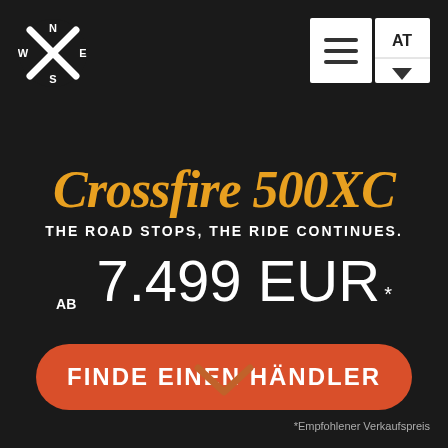[Figure (logo): X compass rose logo with N, W, E, S directions in white on dark background]
[Figure (screenshot): Navigation menu icon (hamburger) and AT country selector with dropdown arrow on white background]
Crossfire 500XC
THE ROAD STOPS, THE RIDE CONTINUES.
AB 7.499 EUR *
FINDE EINEN HÄNDLER
[Figure (illustration): Orange/brown chevron down arrow]
*Empfohlener Verkaufspreis